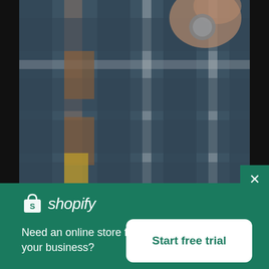[Figure (photo): Blurred photo of a person holding a small round object (coffee cup lid or button) against a blurred plaid fabric background in dark blue, brown, and white tones]
[Figure (logo): Shopify logo: white shopping bag icon with 'S' followed by italic white text 'shopify']
Need an online store for your business?
Start free trial